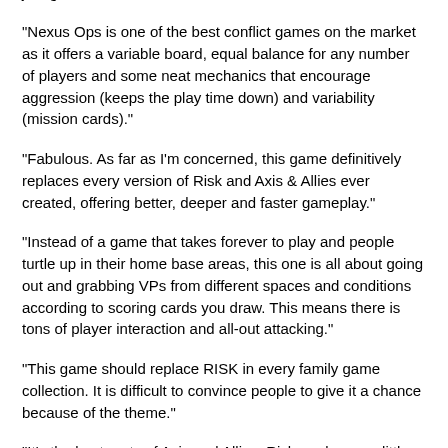players. The random board and secret missions make every game seem fresh and the diversity in the 6 different units is just great."
"Nexus Ops is one of the best conflict games on the market as it offers a variable board, equal balance for any number of players and some neat mechanics that encourage aggression (keeps the play time down) and variability (mission cards)."
"Fabulous. As far as I'm concerned, this game definitively replaces every version of Risk and Axis & Allies ever created, offering better, deeper and faster gameplay."
"Instead of a game that takes forever to play and people turtle up in their home base areas, this one is all about going out and grabbing VPs from different spaces and conditions according to scoring cards you draw. This means there is tons of player interaction and all-out attacking."
"This game should replace RISK in every family game collection. It is difficult to convince people to give it a chance because of the theme."
"It's the best parts of Axis and Allies, Risk, and even a little Twilight Imperium."
"The semi-random board, random exploration tile placement, the different but not complex units and the secret missions all add up to a great gaming